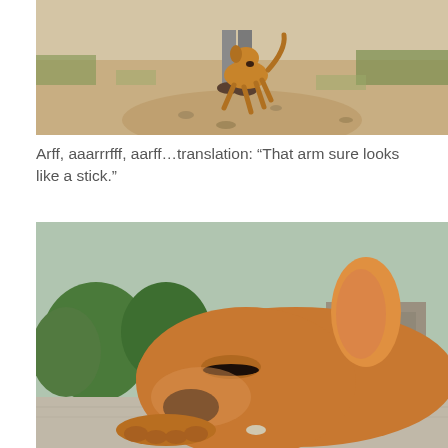[Figure (photo): A tan/brown dog running on a dirt trail toward the camera, with a person's legs and sandals visible walking behind the dog. Rocky, earthy path with some grass.]
Arff, aaarrf​f, aarff…translation: “That arm sure looks like a stick.”
[Figure (photo): A large tan/brown dog with eyes nearly closed, resting its head on a flat stone surface. Green trees and stone ruins visible in the background.]